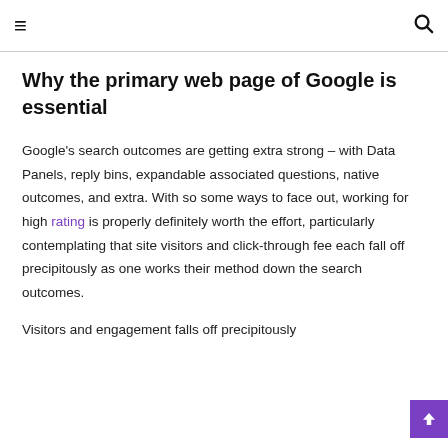≡  🔍
Why the primary web page of Google is essential
Google's search outcomes are getting extra strong – with Data Panels, reply bins, expandable associated questions, native outcomes, and extra. With so some ways to face out, working for high rating is properly definitely worth the effort, particularly contemplating that site visitors and click-through fee each fall off precipitously as one works their method down the search outcomes.
Visitors and engagement falls off precipitously